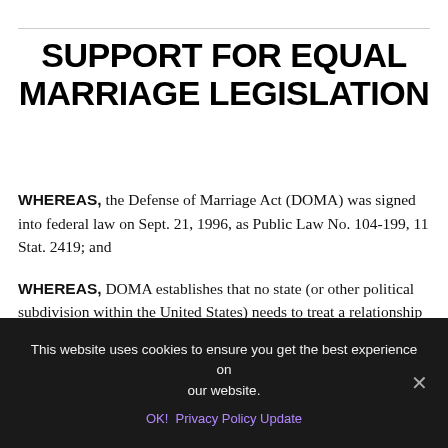SUPPORT FOR EQUAL MARRIAGE LEGISLATION
WHEREAS, the Defense of Marriage Act (DOMA) was signed into federal law on Sept. 21, 1996, as Public Law No. 104-199, 11 Stat. 2419; and
WHEREAS, DOMA establishes that no state (or other political subdivision within the United States) needs to treat a relationship between individuals of the same sex as a marriage, even if the relationship is considered a marriage in another state; and
This website uses cookies to ensure you get the best experience on our website. OK! Privacy Policy Update